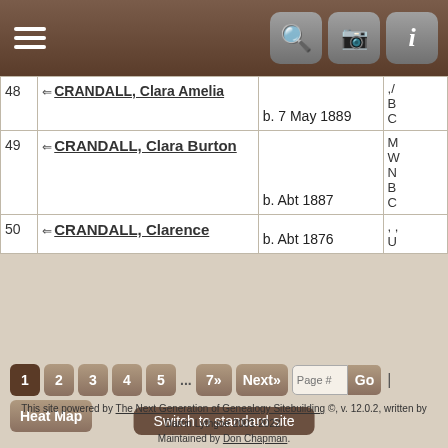| # | Name | Birth Date | Info |
| --- | --- | --- | --- |
| 48 | CRANDALL, Clara Amelia | b. 7 May 1889 | B C |
| 49 | CRANDALL, Clara Burton | b. Abt 1887 | M W N B C |
| 50 | CRANDALL, Clarence | b. Abt 1876 | U |
1 2 3 4 5 ... 7» Next» Page # Go | Heat Map
Switch to standard site
This site powered by The Next Generation of Genealogy Sitebuilding ©, v. 12.0.2, written by Darrin Lythgoe 2001-2022. Maintained by Don Chapman.